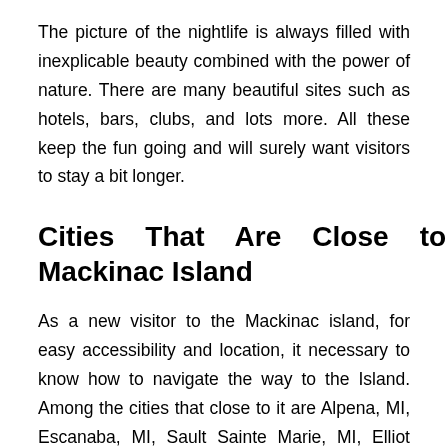The picture of the nightlife is always filled with inexplicable beauty combined with the power of nature. There are many beautiful sites such as hotels, bars, clubs, and lots more. All these keep the fun going and will surely want visitors to stay a bit longer.
Cities That Are Close to Mackinac Island
As a new visitor to the Mackinac island, for easy accessibility and location, it necessary to know how to navigate the way to the Island. Among the cities that close to it are Alpena, MI, Escanaba, MI, Sault Sainte Marie, MI, Elliot Lake, Little Current; these cities, among others, make getting to the Mackinac island easy. To catch the best fun, visit the site for holiday, vacation, anniversary, birthday, wedding, and other things. This Island is always a beehive of activities.